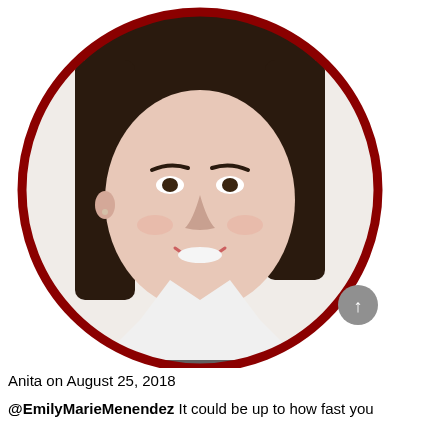[Figure (photo): Profile photo of a young woman with dark straight hair, smiling, wearing a white collared shirt. The photo is cropped in a circle with a dark red/maroon border. A gray scroll-up button appears at the bottom right of the circle.]
Anita on August 25, 2018
@EmilyMarieMenendez It could be up to how fast you